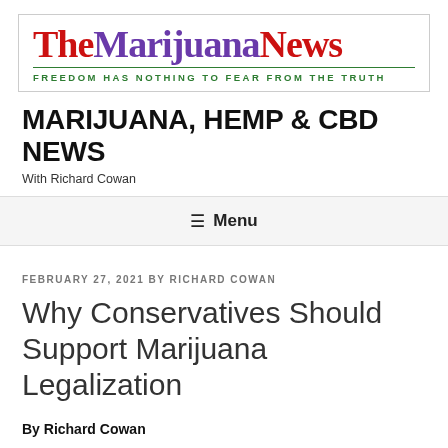[Figure (logo): The Marijuana News logo with red 'The', purple 'Marijuana', red 'News' in serif font, with green tagline 'FREEDOM HAS NOTHING TO FEAR FROM THE TRUTH']
MARIJUANA, HEMP & CBD NEWS
With Richard Cowan
≡ Menu
FEBRUARY 27, 2021 BY RICHARD COWAN
Why Conservatives Should Support Marijuana Legalization
By Richard Cowan